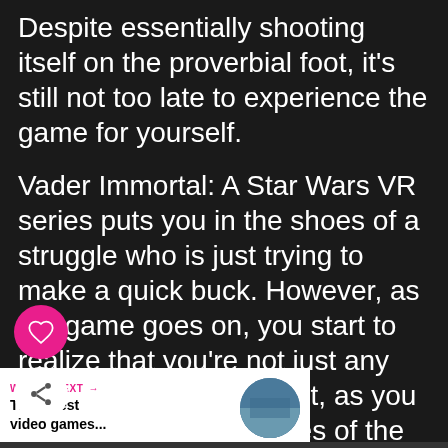Despite essentially shooting itself on the proverbial foot, it's still not too late to experience the game for yourself.
Vader Immortal: A Star Wars VR series puts you in the shoes of a struggle who is just trying to make a quick buck. However, as the game goes on, you start to realize that you're not just any regular smuggler. In fact, as you roam through the insides of the Imperial ship, you'll find out that you can use the Force to some extent, which explains why a Rancor is hunting you, and why Vader is testing your powers.
[Figure (other): Heart (like) button - pink circular button with heart icon]
[Figure (other): Share button - white circular button with share icon]
WHAT'S NEXT → The 9 best video games...